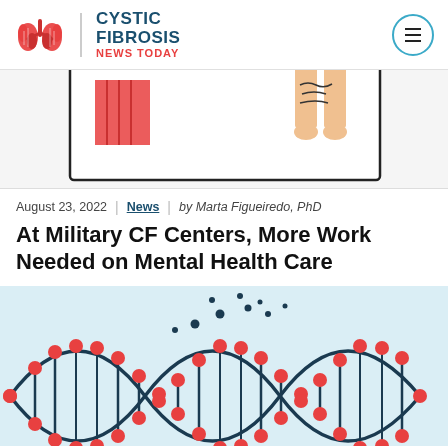CYSTIC FIBROSIS NEWS TODAY
[Figure (illustration): Partial illustration showing a person's legs/feet hanging above a box outline with red rectangular element, representing a conceptual image for the article.]
August 23, 2022 | News | by Marta Figueiredo, PhD
At Military CF Centers, More Work Needed on Mental Health Care
[Figure (illustration): Colorful illustration of a DNA double helix in dark navy and red/orange, with small dark dots scattered near the top representing particles or molecules, on a light blue background.]